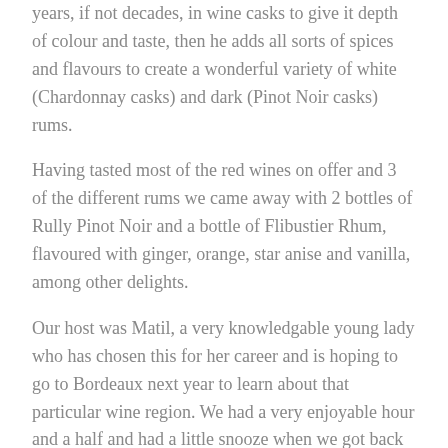years, if not decades, in wine casks to give it depth of colour and taste, then he adds all sorts of spices and flavours to create a wonderful variety of white (Chardonnay casks) and dark (Pinot Noir casks) rums.
Having tasted most of the red wines on offer and 3 of the different rums we came away with 2 bottles of Rully Pinot Noir and a bottle of Flibustier Rhum, flavoured with ginger, orange, star anise and vanilla, among other delights.
Our host was Matil, a very knowledgable young lady who has chosen this for her career and is hoping to go to Bordeaux next year to learn about that particular wine region. We had a very enjoyable hour and a half and had a little snooze when we got back to the boat!